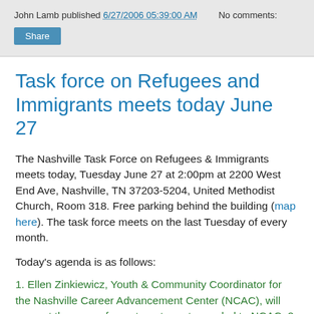John Lamb published 6/27/2006 05:39:00 AM   No comments:
Task force on Refugees and Immigrants meets today June 27
The Nashville Task Force on Refugees & Immigrants meets today, Tuesday June 27 at 2:00pm at 2200 West End Ave, Nashville, TN 37203-5204, United Methodist Church, Room 318. Free parking behind the building (map here). The task force meets on the last Tuesday of every month.
Today's agenda is as follows:
1. Ellen Zinkiewicz, Youth & Community Coordinator for the Nashville Career Advancement Center (NCAC), will present the new refugee target grant awarded to NCAC. 2. Mohammed Ibrahim, Co-Chair of the Task Force, will describe the new "Masters of Science in Public Service